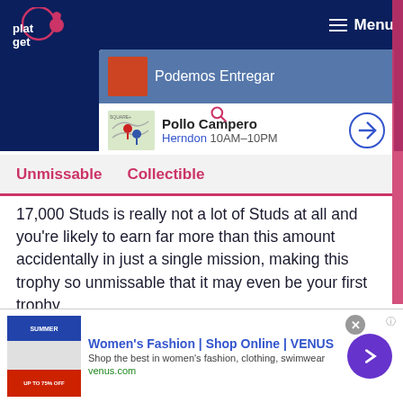platget | Menu | Podemos Entregar | Pollo Campero Herndon 10AM-10PM
Unmissable  Collectible
17,000 Studs is really not a lot of Studs at all and you're likely to earn far more than this amount accidentally in just a single mission, making this trophy so unmissable that it may even be your first trophy.
The Phantom Menace
Women's Fashion | Shop Online | VENUS
Shop the best in women's fashion, clothing, swimwear
venus.com